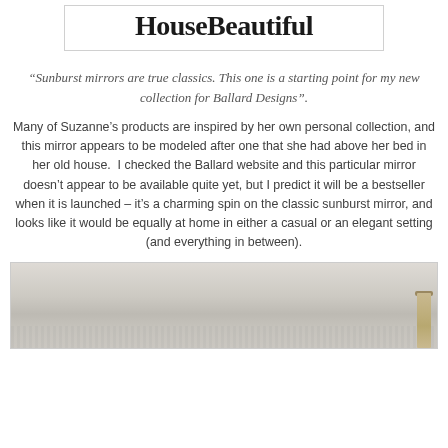[Figure (logo): House Beautiful magazine logo in bold serif font inside a bordered box]
“Sunburst mirrors are true classics. This one is a starting point for my new collection for Ballard Designs”.
Many of Suzanne’s products are inspired by her own personal collection, and this mirror appears to be modeled after one that she had above her bed in her old house.  I checked the Ballard website and this particular mirror doesn’t appear to be available quite yet, but I predict it will be a bestseller when it is launched – it’s a charming spin on the classic sunburst mirror, and looks like it would be equally at home in either a casual or an elegant setting (and everything in between).
[Figure (photo): Interior room photo showing a light-colored wall with horizontal stripes and a curtain visible at the right edge]